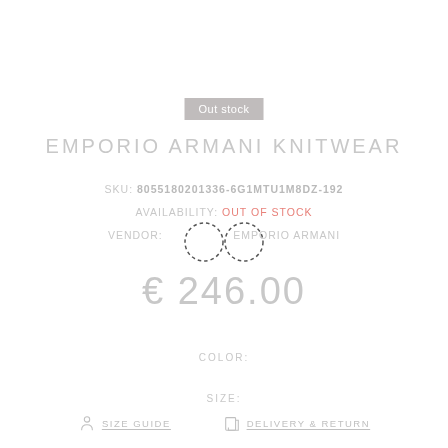Out stock
EMPORIO ARMANI KNITWEAR
SKU: 8055180201336-6G1MTU1M8DZ-192
AVAILABILITY: Out of Stock
VENDOR: EMPORIO ARMANI
[Figure (illustration): Infinity symbol made of dashed circles]
€ 246.00
COLOR:
SIZE:
SIZE GUIDE   DELIVERY & RETURN